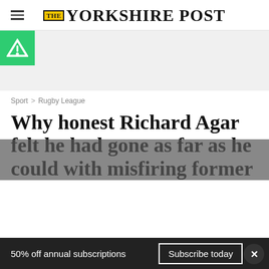The Yorkshire Post
[Figure (other): Advertisement banner with green Achieve logo icon on left, light grey background]
Sport > Rugby League
Why honest Richard Agar felt he had gone as far as he could with misfiring former
50% off annual subscriptions   Subscribe today   ×